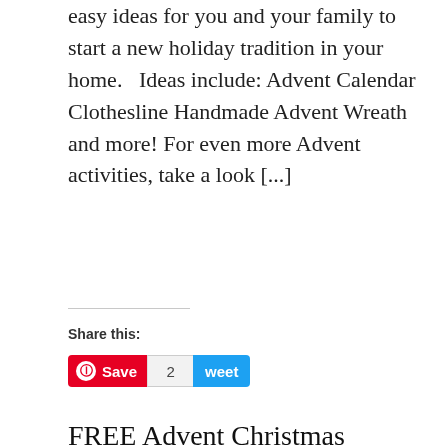easy ideas for you and your family to start a new holiday tradition in your home.   Ideas include: Advent Calendar Clothesline Handmade Advent Wreath and more! For even more Advent activities, take a look [...]
Share this:
[Figure (other): Pinterest Save button (red) with count badge showing 2 and Tweet button (blue)]
FREE Advent Christmas Calendar Cards + more! (Trees Edition)
[Figure (illustration): Advent Calendar image with teal burlap background, red ribbon banner reading 'Advent Calendar' in white script, and illustrated Christmas trees in light pink/blue below]
Here is another beautiful Advent